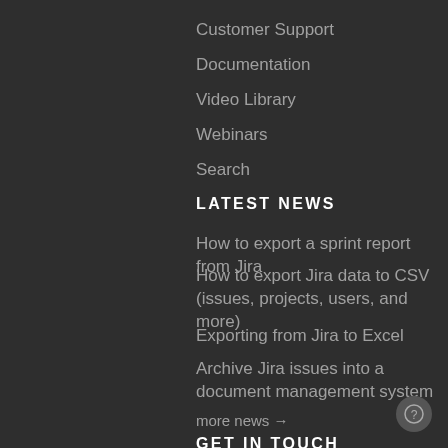Customer Support
Documentation
Video Library
Webinars
Search
LATEST NEWS
How to export a sprint report from Jira
How to export Jira data to CSV (issues, projects, users, and more)
Exporting from Jira to Excel
Archive Jira issues into a document management system
more news →
GET IN TOUCH
info@midori-global.com
On the Atlassian Marketplace →
Subscribe the Midori Newsletter